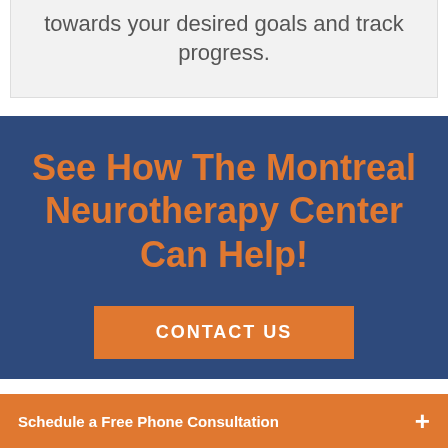towards your desired goals and track progress.
See How The Montreal Neurotherapy Center Can Help!
CONTACT US
Schedule a Free Phone Consultation